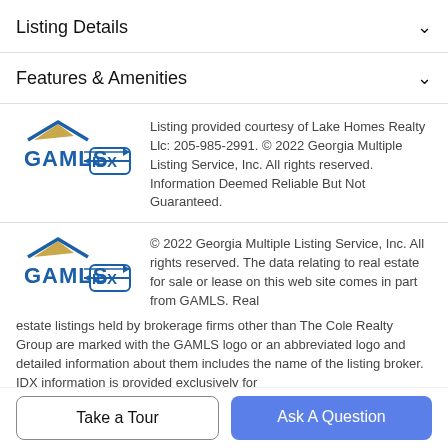Listing Details
Features & Amenities
[Figure (logo): GAMLS IDX logo]
Listing provided courtesy of Lake Homes Realty Llc: 205-985-2991. © 2022 Georgia Multiple Listing Service, Inc. All rights reserved. Information Deemed Reliable But Not Guaranteed.
[Figure (logo): GAMLS IDX logo]
© 2022 Georgia Multiple Listing Service, Inc. All rights reserved. The data relating to real estate for sale or lease on this web site comes in part from GAMLS. Real estate listings held by brokerage firms other than The Cole Realty Group are marked with the GAMLS logo or an abbreviated logo and detailed information about them includes the name of the listing broker. IDX information is provided exclusively for
Take a Tour
Ask A Question